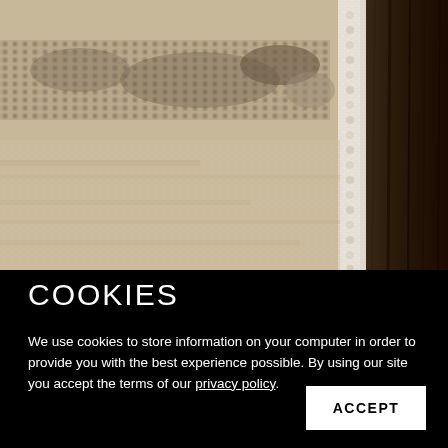[Figure (photo): Close-up photograph of a textured woven rug with raised loop patterns in cream and taupe/grey tones, with a white border/hem visible on the right side, and dark wood flooring visible in the upper right corner.]
COOKIES
We use cookies to store information on your computer in order to provide you with the best experience possible. By using our site you accept the terms of our privacy policy.
ACCEPT